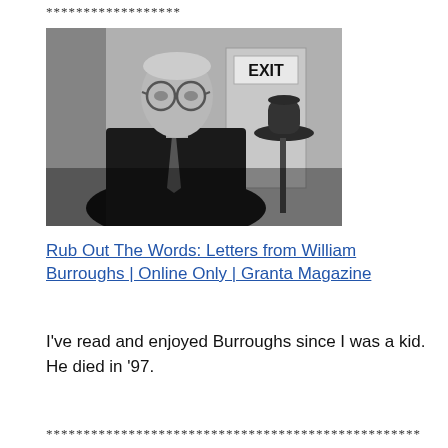******************
[Figure (photo): Black and white photograph of an elderly man wearing glasses and a suit with a tie, standing in front of an EXIT sign. A fedora hat is visible on a stand to his right.]
Rub Out The Words: Letters from William Burroughs | Online Only | Granta Magazine
I’ve read and enjoyed Burroughs since I was a kid. He died in ‘97.
**************************************************